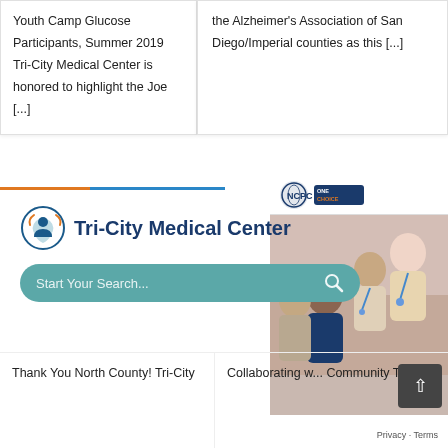Youth Camp Glucose Participants, Summer 2019 Tri-City Medical Center is honored to highlight the Joe [...]
the Alzheimer's Association of San Diego/Imperial counties as this [...]
[Figure (photo): NCPC ONE CHOICE banner with group photo of young people wearing lanyards]
[Figure (logo): Tri-City Medical Center logo with icon and text]
[Figure (screenshot): Search bar with placeholder text Start Your Search... and magnifying glass icon]
Thank You North County! Tri-City
Collaborating w... Community Tri-City